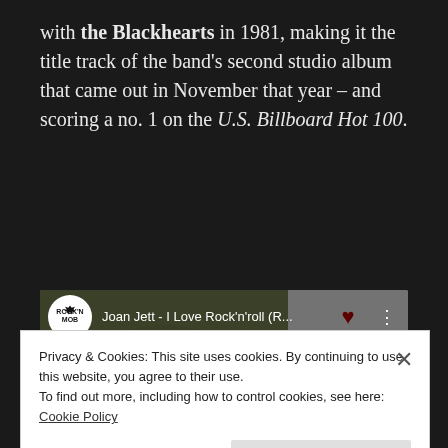with the Blackhearts in 1981, making it the title track of the band's second studio album that came out in November that year – and scoring a no. 1 on the U.S. Billboard Hot 100.
[Figure (screenshot): YouTube video thumbnail for 'Joan Jett - I Love Rock'n'roll (R...)' from the RocknMob channel, showing an aerial view of a crowd in a circular formation. The video thumbnail includes a red YouTube play button, the RocknMob channel logo, and an album art panel on the right showing 'I LOVE ROCK'N'ROLL Joan Jett Rocknmob #5'.]
Privacy & Cookies: This site uses cookies. By continuing to use this website, you agree to their use.
To find out more, including how to control cookies, see here:
Cookie Policy
Close and accept